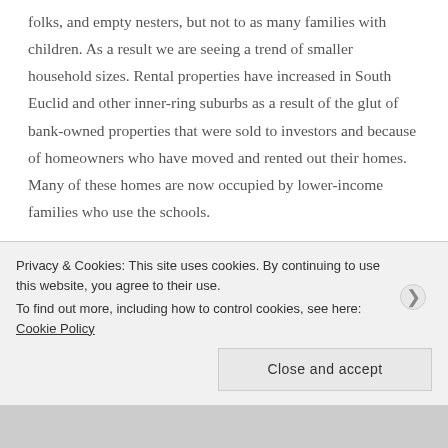folks, and empty nesters, but not to as many families with children. As a result we are seeing a trend of smaller household sizes. Rental properties have increased in South Euclid and other inner-ring suburbs as a result of the glut of bank-owned properties that were sold to investors and because of homeowners who have moved and rented out their homes. Many of these homes are now occupied by lower-income families who use the schools.
As we lost middle class families and more lower income fell here...
Privacy & Cookies: This site uses cookies. By continuing to use this website, you agree to their use. To find out more, including how to control cookies, see here: Cookie Policy
Close and accept